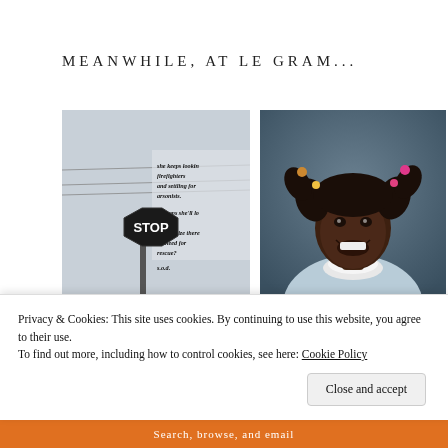MEANWHILE, AT LE GRAM...
[Figure (photo): Photo of a stop sign with overlay text of a poem reading: she keeps looking firefighters and settling for arsonists. perhaps she'll look inside and realize there no need for rescue? s.o.d.]
[Figure (photo): School portrait photo of a young Black girl with pigtails tied with colorful hair ties, wearing a light blue blouse with white ruffled collar, smiling at camera against a grey/blue background.]
[Figure (photo): Partially visible photo at bottom left, appears to show green foliage.]
[Figure (photo): Partially visible photo at bottom right, appears dark/black.]
Privacy & Cookies: This site uses cookies. By continuing to use this website, you agree to their use.
To find out more, including how to control cookies, see here: Cookie Policy
Close and accept
Search, browse, and email